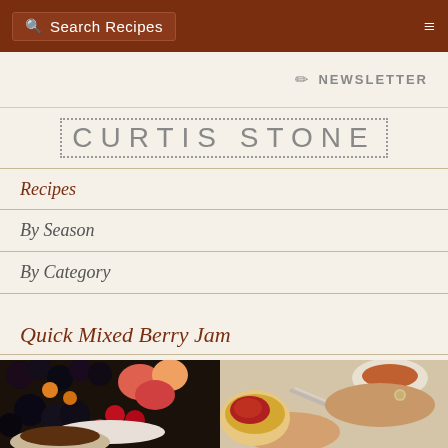Search Recipes
NEWSLETTER
CURTIS STONE
Recipes
By Season
By Category
Quick Mixed Berry Jam
[Figure (photo): Hands spreading berry jam on a small biscuit/scone, with a bowl of mixed berries (blackberries, peaches, strawberries) in the background and a small dish of jam, plus a cup of coffee.]